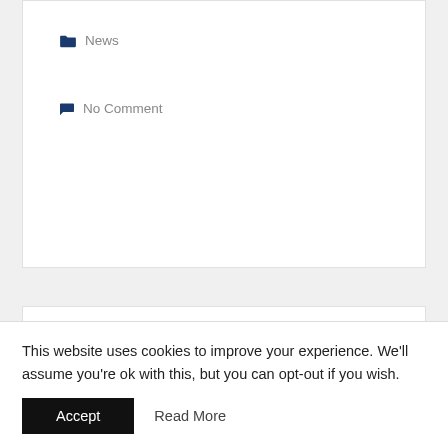News
No Comment
Joanna Avoids Knee Replacements with Lipogems®
Dr. Jay Bowen's patient, Joanna, tells about her Lipogems® procedure for her knee pain and lack of mobility. Results may vary based on
This website uses cookies to improve your experience. We'll assume you're ok with this, but you can opt-out if you wish.